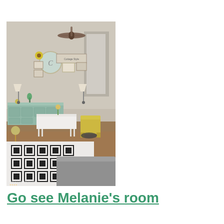[Figure (photo): Interior living room photo showing a decorated space with a black and white geometric area rug, white desk/console table, teal painted credenza, wall gallery with mirrors and art, ceiling fan, lamps, yellow chair, globe on stand, and gray sofa in foreground. Watermark reads SaltAndPepperMoms in bottom left corner.]
Go see Melanie's room